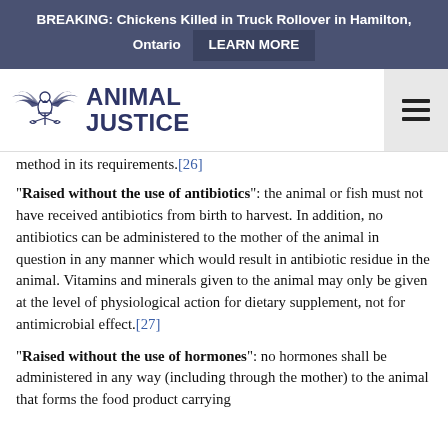BREAKING: Chickens Killed in Truck Rollover in Hamilton, Ontario  LEARN MORE
[Figure (logo): Animal Justice logo — winged figure above scales of justice, with text ANIMAL JUSTICE]
method in its requirements.[26]
“Raised without the use of antibiotics”: the animal or fish must not have received antibiotics from birth to harvest. In addition, no antibiotics can be administered to the mother of the animal in question in any manner which would result in antibiotic residue in the animal. Vitamins and minerals given to the animal may only be given at the level of physiological action for dietary supplement, not for antimicrobial effect.[27]
“Raised without the use of hormones”: no hormones shall be administered in any way (including through the mother) to the animal that forms the food product carrying